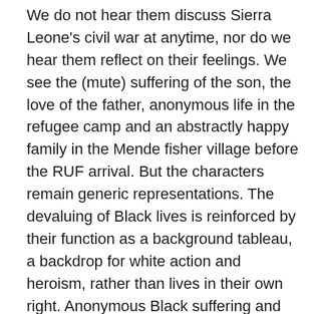We do not hear them discuss Sierra Leone's civil war at anytime, nor do we hear them reflect on their feelings. We see the (mute) suffering of the son, the love of the father, anonymous life in the refugee camp and an abstractly happy family in the Mende fisher village before the RUF arrival. But the characters remain generic representations. The devaluing of Black lives is reinforced by their function as a background tableau, a backdrop for white action and heroism, rather than lives in their own right. Anonymous Black suffering and dying, dead, mutilated Black bodies, anonymous perpetrators of violence, often gangs or groups, child soldiers, militias, interahamwe and the RUF are the backdrop of all Hollywood documentaries about Africa and new wars. Even personalized life–such as that of the Vandy family–seems recounted as much as a backdrop as in its own right. In Blood Diamond the